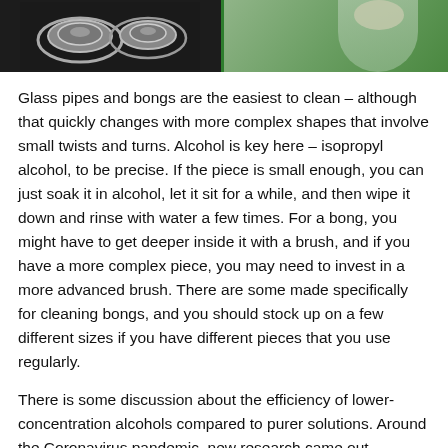[Figure (photo): Two-panel photo: left shows glass pipes/bongs on dark background, right shows a person outdoors with greenery]
Glass pipes and bongs are the easiest to clean – although that quickly changes with more complex shapes that involve small twists and turns. Alcohol is key here – isopropyl alcohol, to be precise. If the piece is small enough, you can just soak it in alcohol, let it sit for a while, and then wipe it down and rinse with water a few times. For a bong, you might have to get deeper inside it with a brush, and if you have a more complex piece, you may need to invest in a more advanced brush. There are some made specifically for cleaning bongs, and you should stock up on a few different sizes if you have different pieces that you use regularly.
There is some discussion about the efficiency of lower-concentration alcohols compared to purer solutions. Around the Coronavirus pandemic, new research came out revealing that 70% alcohol is typically the sweet spot